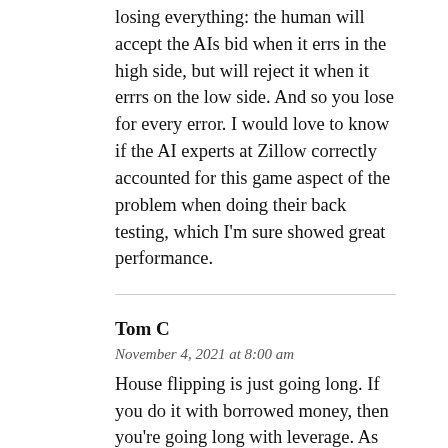losing everything: the human will accept the AIs bid when it errs in the high side, but will reject it when it errrs on the low side. And so you lose for every error. I would love to know if the AI experts at Zillow correctly accounted for this game aspect of the problem when doing their back testing, which I'm sure showed great performance.
Tom C
November 4, 2021 at 8:00 am
House flipping is just going long. If you do it with borrowed money, then you're going long with leverage. As such, you're completely dependent on the market continuing to go up.
The other thing that struck me about the article was